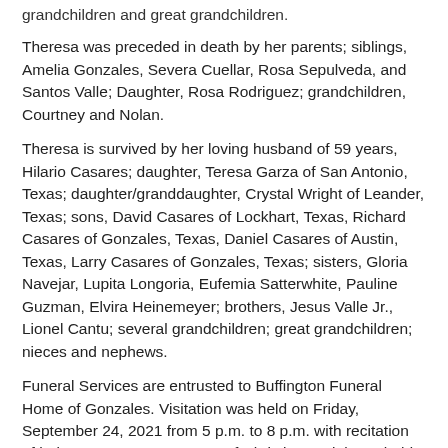grandchildren and great grandchildren.
Theresa was preceded in death by her parents; siblings, Amelia Gonzales, Severa Cuellar, Rosa Sepulveda, and Santos Valle; Daughter, Rosa Rodriguez; grandchildren, Courtney and Nolan.
Theresa is survived by her loving husband of 59 years, Hilario Casares; daughter, Teresa Garza of San Antonio, Texas; daughter/granddaughter, Crystal Wright of Leander, Texas; sons, David Casares of Lockhart, Texas, Richard Casares of Gonzales, Texas, Daniel Casares of Austin, Texas, Larry Casares of Gonzales, Texas; sisters, Gloria Navejar, Lupita Longoria, Eufemia Satterwhite, Pauline Guzman, Elvira Heinemeyer; brothers, Jesus Valle Jr., Lionel Cantu; several grandchildren; great grandchildren; nieces and nephews.
Funeral Services are entrusted to Buffington Funeral Home of Gonzales. Visitation was held on Friday, September 24, 2021 from 5 p.m. to 8 p.m. with recitation of holy rosary at 7 p.m. Mass of Christian Burial was held Saturday, September 25, at 10 a.m., at Sacred Heart Catholic Church, interment followed at St. James Catholic Cemetery.
To leave the family a condolence or share a photo or leave a memory of Mrs. Casares, please visit